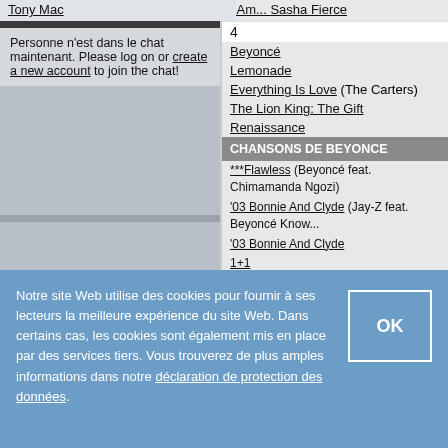Tony Mac
CHAT
Personne n'est dans le chat maintenant. Please log on or create a new account to join the chat!
I Am... Sasha Fierce
4
Beyoncé
Lemonade
Everything Is Love (The Carters)
The Lion King: The Gift
Renaissance
CHANSONS DE BEYONCE
***Flawless (Beyoncé feat. Chimamanda Ngozi)
'03 Bonnie And Clyde (Jay-Z feat. Beyoncé Know...
'03 Bonnie And Clyde
1+1
6 Inch (Beyoncé feat. The Weeknd)
7/11
713 (The Carters)
A Woman Like Me
Alien Superstar
All I Could Do Was Cry
All Night
All Up In Your Mind
Already (Beyoncé, Shatta Wale & Major Lazer)
America Has A Problem
Amor gitano (Alejandro Fernández & Beyoncé)
Apeshit (The Carters)
Notre site Web utilise des cookies pour fournir à ses lecteurs la meilleure expérience du site Web. Dans certains cas, les cookies sont également mis en place par des services tiers. Vous trouverez de plus amples informations dans notre déclaration de protection des données.